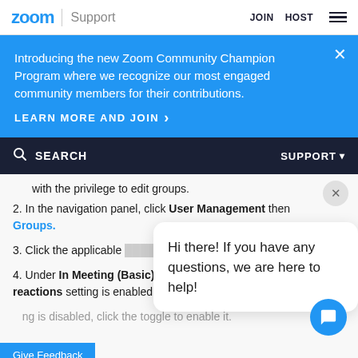zoom | Support   JOIN  HOST
Introducing the new Zoom Community Champion Program where we recognize our most engaged community members for their contributions.
LEARN MORE AND JOIN >
SEARCH   SUPPORT
with the privilege to edit groups.
2. In the navigation panel, click User Management then Groups.
3. Click the applicable ... click the Meeting tab.
4. Under In Meeting (Basic), verify that the Meeting reactions setting is enabled.
Hi there! If you have any questions, we are here to help!
...ng is disabled, click the toggle to enable it.
Give Feedback